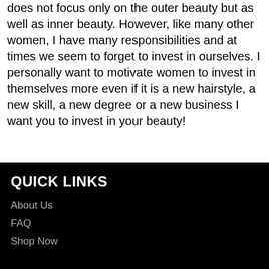does not focus only on the outer beauty but as well as inner beauty. However, like many other women, I have many responsibilities and at times we seem to forget to invest in ourselves. I personally want to motivate women to invest in themselves more even if it is a new hairstyle, a new skill, a new degree or a new business I want you to invest in your beauty!
QUICK LINKS
About Us
FAQ
Shop Now